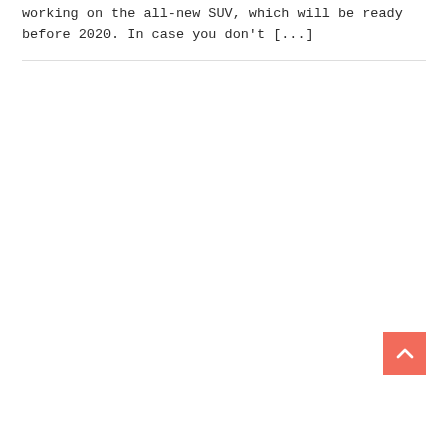working on the all-new SUV, which will be ready before 2020. In case you don't [...]
[Figure (other): Back-to-top button: a salmon/coral colored square with a white upward-pointing chevron arrow icon]